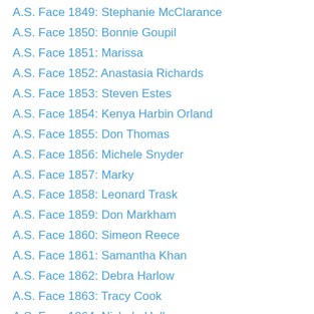A.S. Face 1849: Stephanie McClarance
A.S. Face 1850: Bonnie Goupil
A.S. Face 1851: Marissa
A.S. Face 1852: Anastasia Richards
A.S. Face 1853: Steven Estes
A.S. Face 1854: Kenya Harbin Orland
A.S. Face 1855: Don Thomas
A.S. Face 1856: Michele Snyder
A.S. Face 1857: Marky
A.S. Face 1858: Leonard Trask
A.S. Face 1859: Don Markham
A.S. Face 1860: Simeon Reece
A.S. Face 1861: Samantha Khan
A.S. Face 1862: Debra Harlow
A.S. Face 1863: Tracy Cook
A.S. Face 1864: Nichola Hall
A.S. Face 1865: Jo Fleming
A.S. Face 1866: Libbie Chute
A.S. Face 1867: Barbara Hernandez
A.S. Face 1868: Cameron